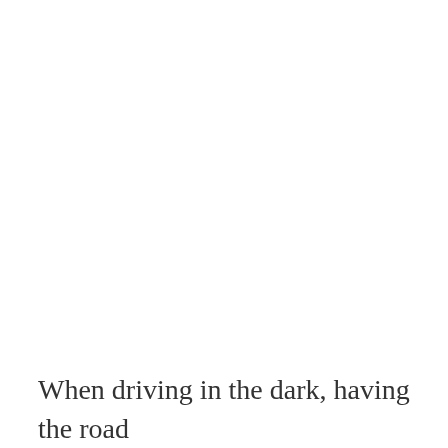When driving in the dark, having the road